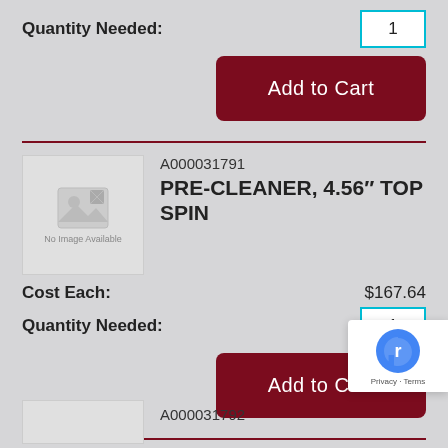Quantity Needed:
1
Add to Cart
A000031791
PRE-CLEANER, 4.56″ TOP SPIN
[Figure (photo): No Image Available placeholder for product A000031791]
Cost Each:
$167.64
Quantity Needed:
1
Add to Cart
[Figure (other): reCAPTCHA badge with Privacy and Terms links]
A000031792